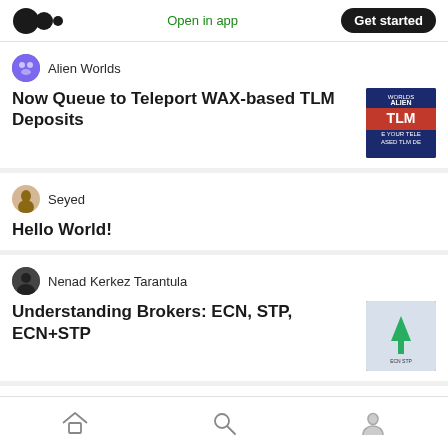Open in app | Get started
Alien Worlds
Now Queue to Teleport WAX-based TLM Deposits
Seyed
Hello World!
Nenad Kerkez Tarantula
Understanding Brokers: ECN, STP, ECN+STP
Professor Black
Home | Search | Profile